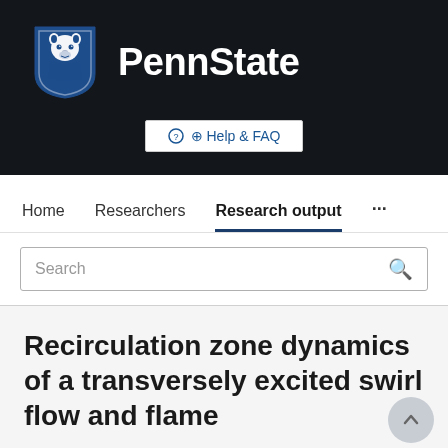[Figure (logo): Penn State university logo with shield mascot (Nittany Lion) and PennState text on dark background]
Help & FAQ
Home   Researchers   Research output   ...
Search
Recirculation zone dynamics of a transversely excited swirl flow and flame